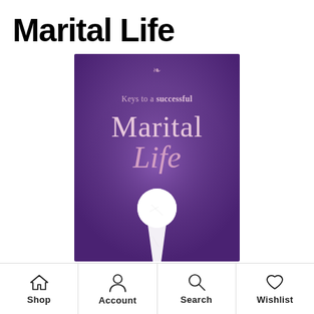Marital Life
[Figure (illustration): Book cover with purple background showing a white key silhouette and text 'Keys to a successful Marital Life']
Shop  Account  Search  Wishlist